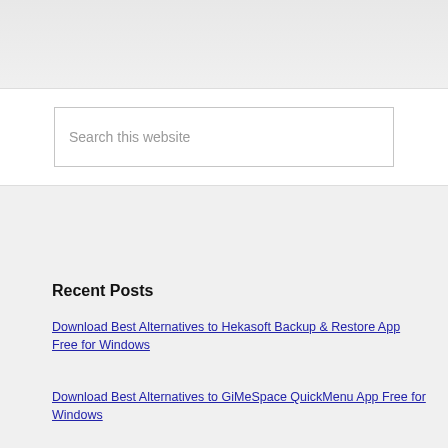Search this website
Recent Posts
Download Best Alternatives to Hekasoft Backup & Restore App Free for Windows
Download Best Alternatives to GiMeSpace QuickMenu App Free for Windows